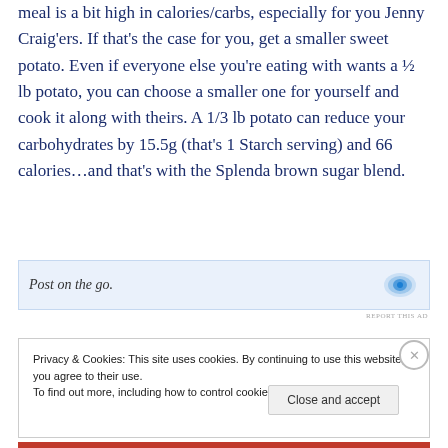meal is a bit high in calories/carbs, especially for you Jenny Craig'ers. If that's the case for you, get a smaller sweet potato. Even if everyone else you're eating with wants a ½ lb potato, you can choose a smaller one for yourself and cook it along with theirs. A 1/3 lb potato can reduce your carbohydrates by 15.5g (that's 1 Starch serving) and 66 calories…and that's with the Splenda brown sugar blend.
[Figure (screenshot): Ad banner with text 'Post on the go.' and a blue icon on the right]
REPORT THIS AD
Privacy & Cookies: This site uses cookies. By continuing to use this website, you agree to their use. To find out more, including how to control cookies, see here: Cookie Policy